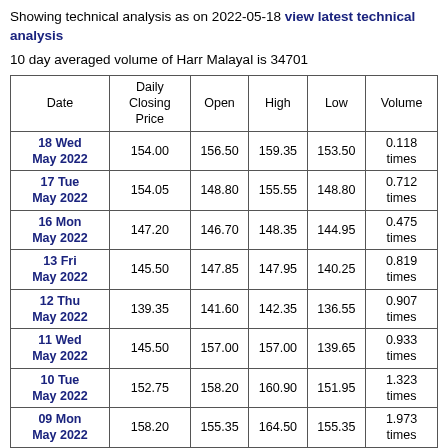Showing technical analysis as on 2022-05-18 view latest technical analysis
10 day averaged volume of Harr Malayal is 34701
| Date | Daily Closing Price | Open | High | Low | Volume |
| --- | --- | --- | --- | --- | --- |
| 18 Wed May 2022 | 154.00 | 156.50 | 159.35 | 153.50 | 0.118 times |
| 17 Tue May 2022 | 154.05 | 148.80 | 155.55 | 148.80 | 0.712 times |
| 16 Mon May 2022 | 147.20 | 146.70 | 148.35 | 144.95 | 0.475 times |
| 13 Fri May 2022 | 145.50 | 147.85 | 147.95 | 140.25 | 0.819 times |
| 12 Thu May 2022 | 139.35 | 141.60 | 142.35 | 136.55 | 0.907 times |
| 11 Wed May 2022 | 145.50 | 157.00 | 157.00 | 139.65 | 0.933 times |
| 10 Tue May 2022 | 152.75 | 158.20 | 160.90 | 151.95 | 1.323 times |
| 09 Mon May 2022 | 158.20 | 155.35 | 164.50 | 155.35 | 1.973 times |